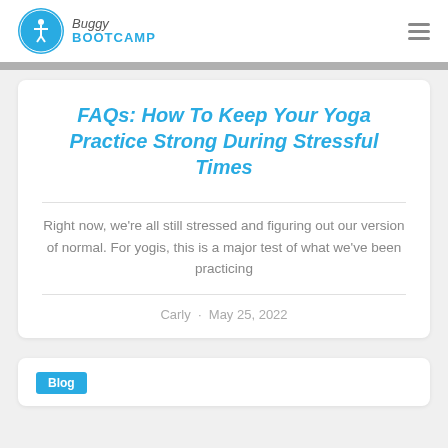Buggy BOOTCAMP
FAQs: How To Keep Your Yoga Practice Strong During Stressful Times
Right now, we're all still stressed and figuring out our version of normal. For yogis, this is a major test of what we've been practicing
Carly · May 25, 2022
Blog